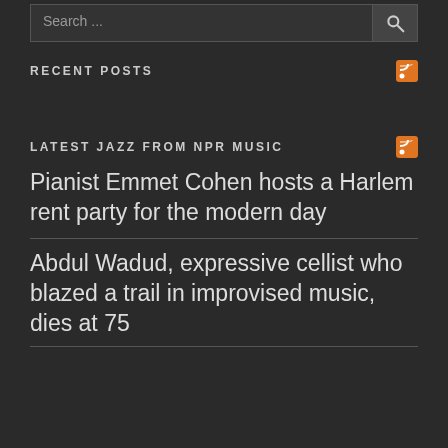[Figure (other): Search bar with text input and search button icon]
RECENT POSTS
LATEST JAZZ FROM NPR MUSIC
Pianist Emmet Cohen hosts a Harlem rent party for the modern day
Abdul Wadud, expressive cellist who blazed a trail in improvised music, dies at 75